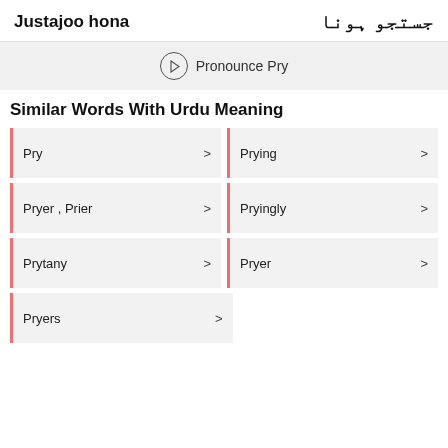Justajoo hona / جستجو ہونا
Pronounce Pry
Similar Words With Urdu Meaning
Pry >
Prying >
Pryer , Prier >
Pryingly >
Prytany >
Pryer >
Pryers >